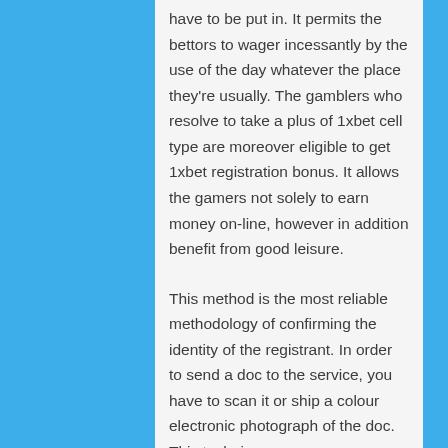have to be put in. It permits the bettors to wager incessantly by the use of the day whatever the place they're usually. The gamblers who resolve to take a plus of 1xbet cell type are moreover eligible to get 1xbet registration bonus. It allows the gamers not solely to earn money on-line, however in addition benefit from good leisure.
This method is the most reliable methodology of confirming the identity of the registrant. In order to send a doc to the service, you have to scan it or ship a colour electronic photograph of the doc. This technique may seem probably the most troublesome because of the massive variety of fields to be filled.
The boxing market is stocked with world